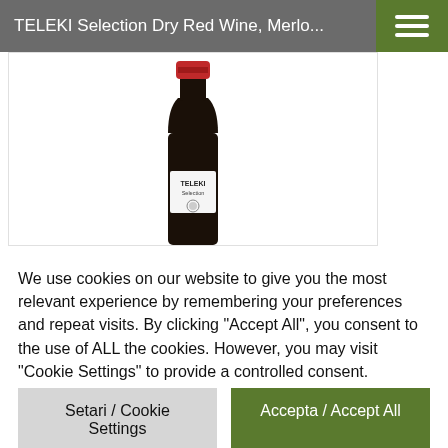TELEKI Selection Dry Red Wine, Merlo...
[Figure (photo): A wine bottle with a red cap and white label reading 'TELEKI Selection', dark glass bottle body, partially cropped at bottom]
We use cookies on our website to give you the most relevant experience by remembering your preferences and repeat visits. By clicking “Accept All”, you consent to the use of ALL the cookies. However, you may visit "Cookie Settings" to provide a controlled consent.
Setari / Cookie Settings
Accepta / Accept All